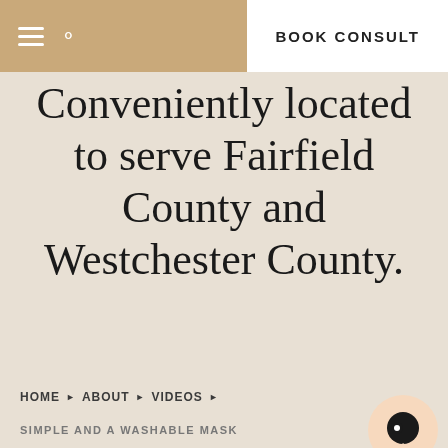BOOK CONSULT
Conveniently located to serve Fairfield County and Westchester County.
HOME › ABOUT › VIDEOS ›
SIMPLE AND A WASHABLE MASK
We use cookies on our website to give you the most relevant experience by remembering your preferences and repeat visits. By clicking "Accept All", consent to the use of ALL the cookies. However, may visit "Cookie Settings" to provide a controlled consent.
Cookie Settings   Accept All